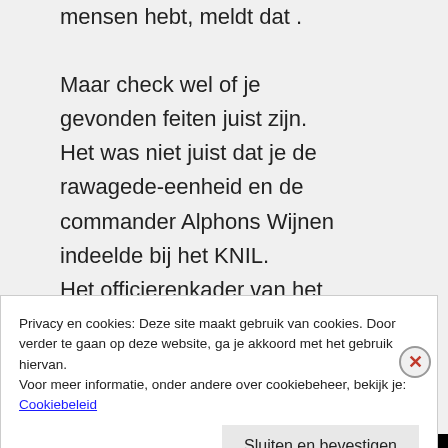mensen hebt, meldt dat . Maar check wel of je gevonden feiten juist zijn. Het was niet juist dat je de rawagede-eenheid en de commander Alphons Wijnen indeelde bij het KNIL. Het officierenkader van het KNIL was overwegend Nederlands.
Privacy en cookies: Deze site maakt gebruik van cookies. Door verder te gaan op deze website, ga je akkoord met het gebruik hiervan. Voor meer informatie, onder andere over cookiebeheer, bekijk je: Cookiebeleid
Sluiten en bevestigen